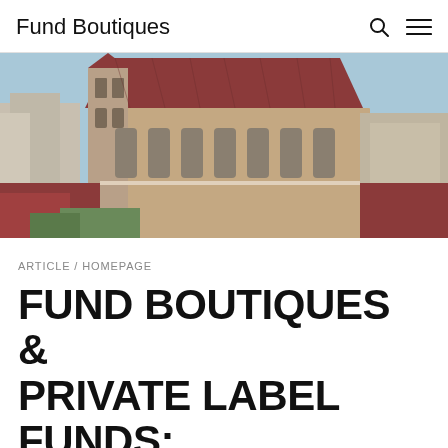Fund Boutiques
[Figure (photo): Aerial view of a large Gothic church with a red-tiled roof in a European city, likely Munich, surrounded by urban buildings under a clear sky.]
ARTICLE / HOMEPAGE
FUND BOUTIQUES & PRIVATE LABEL FUNDS: